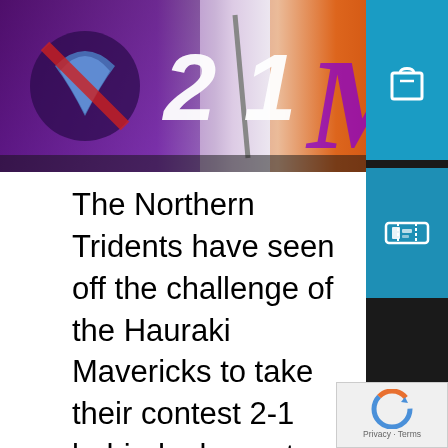[Figure (screenshot): Sports match banner showing score 2-1 between Northern Tridents and Hauraki Mavericks with team logos and score display]
The Northern Tridents have seen off the challenge of the Hauraki Mavericks to take their contest 2-1 behind a brace to Stacey Michelsen. The win brings the Tridents level with the Falcons on 14 points with one round remaining.

Both sides entered the match on 10 points, and the contest showed just how tight the three teams are at the top of the ladder.